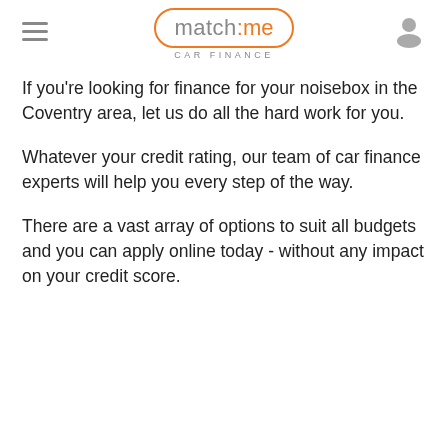match:me CAR FINANCE
If you're looking for finance for your noisebox in the Coventry area, let us do all the hard work for you.
Whatever your credit rating, our team of car finance experts will help you every step of the way.
There are a vast array of options to suit all budgets and you can apply online today - without any impact on your credit score.